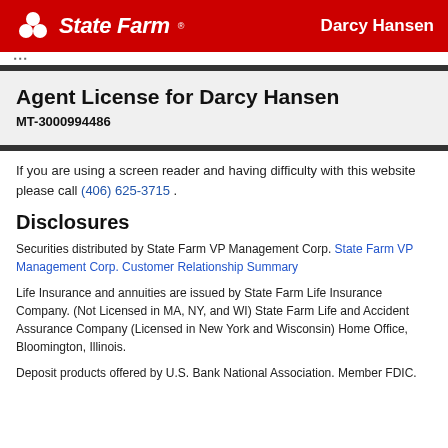State Farm — Darcy Hansen
Agent License for Darcy Hansen
MT-3000994486
If you are using a screen reader and having difficulty with this website please call (406) 625-3715 .
Disclosures
Securities distributed by State Farm VP Management Corp. State Farm VP Management Corp. Customer Relationship Summary
Life Insurance and annuities are issued by State Farm Life Insurance Company. (Not Licensed in MA, NY, and WI) State Farm Life and Accident Assurance Company (Licensed in New York and Wisconsin) Home Office, Bloomington, Illinois.
Deposit products offered by U.S. Bank National Association. Member FDIC.